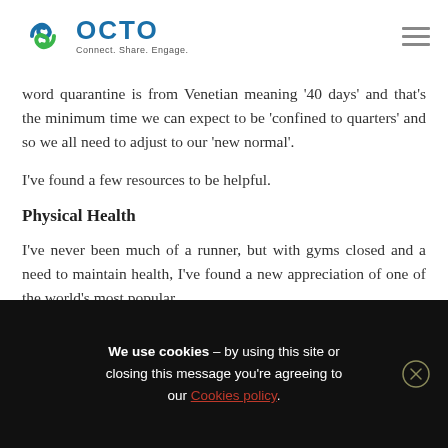OCTO – Connect. Share. Engage.
word quarantine is from Venetian meaning '40 days' and that's the minimum time we can expect to be 'confined to quarters' and so we all need to adjust to our 'new normal'.
I've found a few resources to be helpful.
Physical Health
I've never been much of a runner, but with gyms closed and a need to maintain health, I've found a new appreciation of one of the world's most popular
We use cookies – by using this site or closing this message you're agreeing to our Cookies policy.